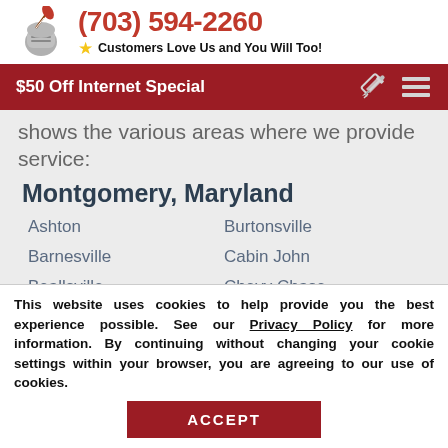(703) 594-2260 — Customers Love Us and You Will Too!
[Figure (logo): Knight helmet logo with quill pen]
$50 Off Internet Special
shows the various areas where we provide service:
Montgomery, Maryland
Ashton
Burtonsville
Barnesville
Cabin John
Beallsville
Chevy Chase
This website uses cookies to help provide you the best experience possible. See our Privacy Policy for more information. By continuing without changing your cookie settings within your browser, you are agreeing to our use of cookies.